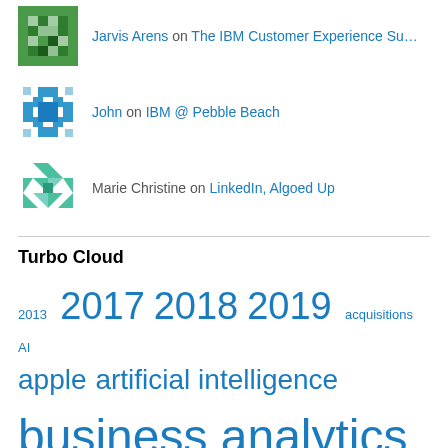Jarvis Arens on The IBM Customer Experience Su…
John on IBM @ Pebble Beach
Marie Christine on LinkedIn, Algoed Up
Turbo Cloud
2013  2017  2018  2019  acquisitions  AI  apple  artificial intelligence  business analytics  business